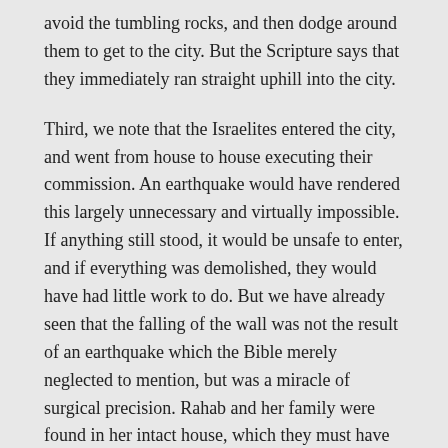avoid the tumbling rocks, and then dodge around them to get to the city. But the Scripture says that they immediately ran straight uphill into the city.
Third, we note that the Israelites entered the city, and went from house to house executing their commission. An earthquake would have rendered this largely unnecessary and virtually impossible. If anything still stood, it would be unsafe to enter, and if everything was demolished, they would have had little work to do. But we have already seen that the falling of the wall was not the result of an earthquake which the Bible merely neglected to mention, but was a miracle of surgical precision. Rahab and her family were found in her intact house, which they must have entered from the unblocked city street, and conducted to the camp of Israel in safety.
20 So the people shouted when the priests blew with the trumpets: and it came to pass, when the people heard the sound of the trumpet, and the people shouted with a great shout, that